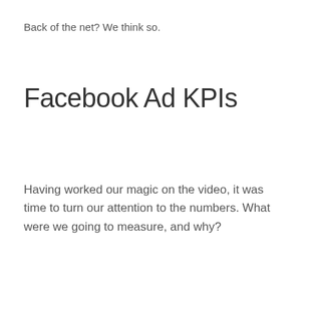Back of the net? We think so.
Facebook Ad KPIs
Having worked our magic on the video, it was time to turn our attention to the numbers. What were we going to measure, and why?